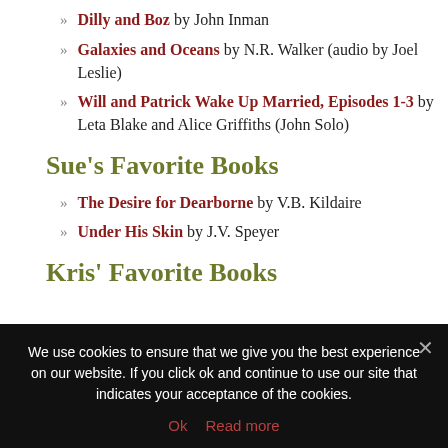Dilly and Boz by John Inman
Galaxies and Oceans by N.R. Walker (audio by Joel Leslie)
Will and Patrick Wake Up Married, Episodes 1-3 by Leta Blake and Alice Griffiths (John Solo)
Sue’s Favorite Books
The Desire for Dearborne by V.B. Kildaire
Under His Skin by J.V. Speyer
Kris’ Favorite Books
We use cookies to ensure that we give you the best experience on our website. If you click ok and continue to use our site that indicates your acceptance of the cookies.